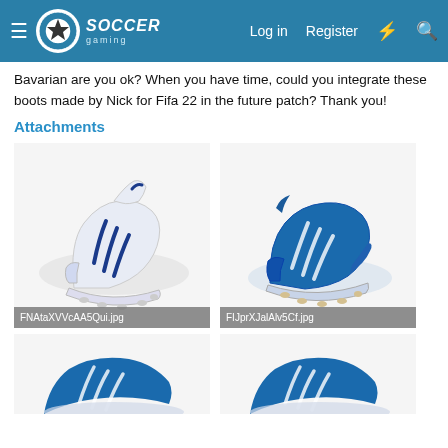Soccer Gaming — Log in | Register
Bavarian are you ok? When you have time, could you integrate these boots made by Nick for Fifa 22 in the future patch? Thank you!
Attachments
[Figure (photo): White and navy blue Adidas soccer cleats (FNAtaXVVcAA5Qui.jpg)]
[Figure (photo): Blue and white Adidas soccer cleats (FIJprXJalAlv5Cf.jpg)]
[Figure (photo): Blue Adidas soccer cleats, partially visible at bottom]
[Figure (photo): Blue Adidas soccer cleats, partially visible at bottom right]